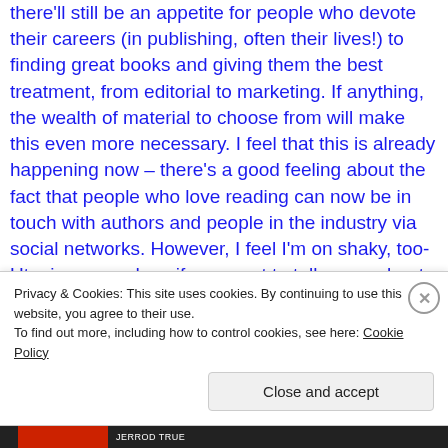there'll still be an appetite for people who devote their careers (in publishing, often their lives!) to finding great books and giving them the best treatment, from editorial to marketing. If anything, the wealth of material to choose from will make this even more necessary. I feel that this is already happening now – there's a good feeling about the fact that people who love reading can now be in touch with authors and people in the industry via social networks. However, I feel I'm on shaky, too-Utopian ground, so if you want to talk more about this, you could request an interview
Privacy & Cookies: This site uses cookies. By continuing to use this website, you agree to their use. To find out more, including how to control cookies, see here: Cookie Policy
Close and accept